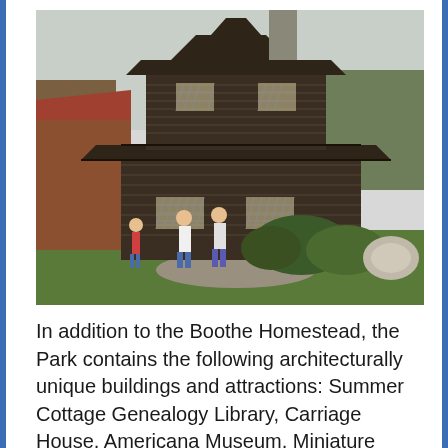[Figure (photo): Photograph of the Boothe Homestead building, a large dark-wood structure with a distinctive pagoda-style tiered roof, stone chimney, and lattice windows. Two people stand in front on a grassy path, with shrubs and trees in the background.]
In addition to the Boothe Homestead, the Park contains the following architecturally unique buildings and attractions: Summer Cottage Genealogy Library, Carriage House, Americana Museum, Miniature Lighthouse, Clocktower Museum, Trolley Station, Blacksmith Shop, Putney Chapel, Miniature